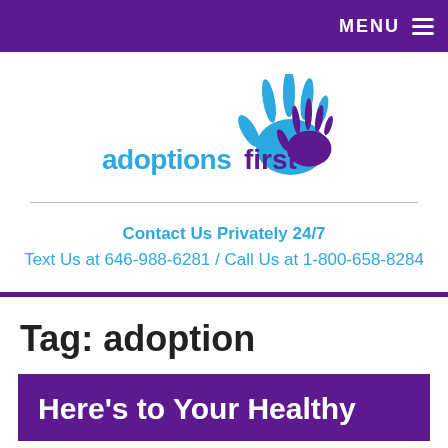MENU
[Figure (logo): Adoptions First logo with blue and purple handprints and text 'adoptionsfirst']
Contact Us Privately 24/7
Text Us at 646-988-6281 / Call Us at 1-800-658-8284
Tag: adoption
Here's to Your Healthy